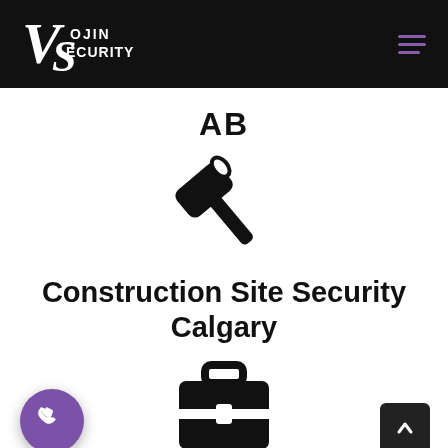[Figure (logo): Vojin Security logo with stylized VS letters and company name in white on black header]
AB
[Figure (illustration): Hammer icon (construction tool) in black silhouette]
Construction Site Security Calgary
[Figure (illustration): Briefcase/toolbox icon in black silhouette at bottom center]
[Figure (illustration): Purple circular phone call button at bottom left]
[Figure (illustration): Dark back-to-top arrow button at bottom right]